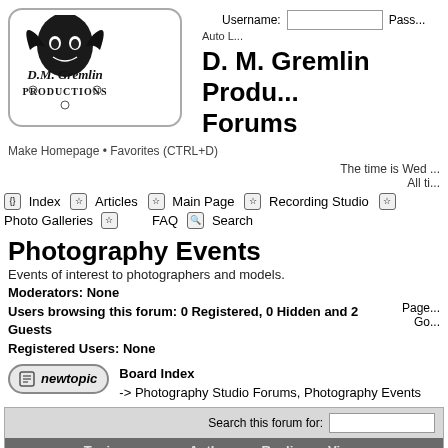[Figure (logo): D. M. Gremlin Productions logo — stylized gremlin figure with ornate gothic lettering spelling out 'D.M. Gremlin Productions' inside a rounded rectangle border]
D. M. Gremlin Productions Forums
Make Homepage • Favorites (CTRL+D)
The time is Wed ... All ti...
Index  Articles  Main Page  Recording Studio  Photo Galleries  FAQ  Search
Photography Events
Events of interest to photographers and models.
Moderators: None
Users browsing this forum: 0 Registered, 0 Hidden and 2 Guests
Registered Users: None
Board Index -> Photography Studio Forums, Photography Events
| Topics | Author | Replies | Views |  |
| --- | --- | --- | --- | --- |
| Global Announcement: Forum General Rules and ... | D. M. Gremlin | 0 | 46470 | Wed A... |